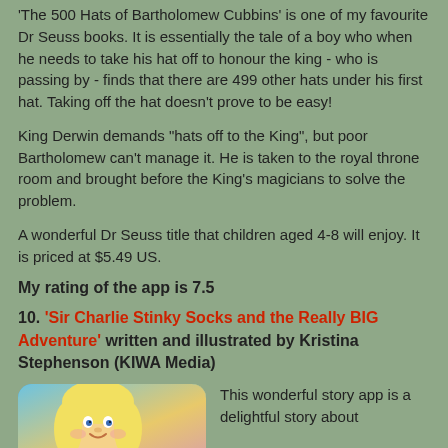'The 500 Hats of Bartholomew Cubbins' is one of my favourite Dr Seuss books. It is essentially the tale of a boy who when he needs to take his hat off to honour the king - who is passing by - finds that there are 499 other hats under his first hat. Taking off the hat doesn't prove to be easy!
King Derwin demands "hats off to the King", but poor Bartholomew can't manage it. He is taken to the royal throne room and brought before the King's magicians to solve the problem.
A wonderful Dr Seuss title that children aged 4-8 will enjoy. It is priced at $5.49 US.
My rating of the app is 7.5
10. 'Sir Charlie Stinky Socks and the Really BIG Adventure' written and illustrated by Kristina Stephenson (KIWA Media)
[Figure (illustration): Book cover illustration showing a blonde girl character with rounded blue/teal background]
This wonderful story app is a delightful story about